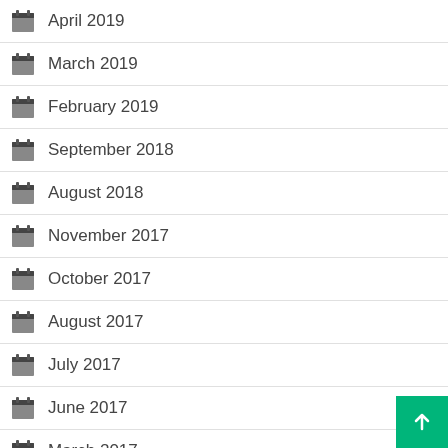April 2019
March 2019
February 2019
September 2018
August 2018
November 2017
October 2017
August 2017
July 2017
June 2017
March 2017
July 2016
May 2016